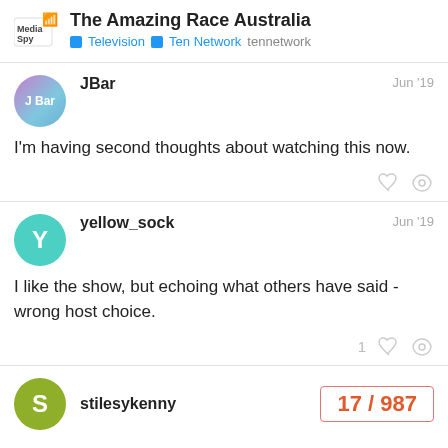The Amazing Race Australia — Television | Ten Network | tennetwork
JBar — Jun '19
I'm having second thoughts about watching this now.
yellow_sock — Jun '19
I like the show, but echoing what others have said - wrong host choice.
stilesykenny — 17 / 987